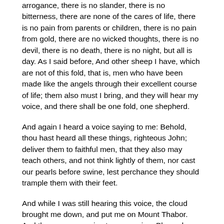arrogance, there is no slander, there is no bitterness, there are none of the cares of life, there is no pain from parents or children, there is no pain from gold, there are no wicked thoughts, there is no devil, there is no death, there is no night, but all is day. As I said before, And other sheep I have, which are not of this fold, that is, men who have been made like the angels through their excellent course of life; them also must I bring, and they will hear my voice, and there shall be one fold, one shepherd.
And again I heard a voice saying to me: Behold, thou hast heard all these things, righteous John; deliver them to faithful men, that they also may teach others, and not think lightly of them, nor cast our pearls before swine, lest perchance they should trample them with their feet.
And while I was still hearing this voice, the cloud brought me down, and put me on Mount Thabor. And there came a voice to me, saying: Blessed are those who keep judgment and do righteousness in all time. And blessed is the house where this description lies, as the Lord said, He that loveth me keepeth my sayings in Christ Jesus our Lord; to Him be glory for ever. Amen.